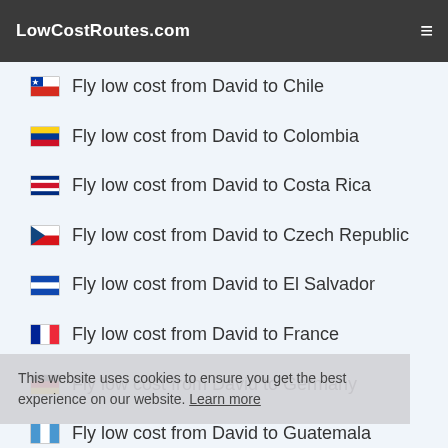LowCostRoutes.com
Fly low cost from David to Chile
Fly low cost from David to Colombia
Fly low cost from David to Costa Rica
Fly low cost from David to Czech Republic
Fly low cost from David to El Salvador
Fly low cost from David to France
Fly low cost from David to Germany
Fly low cost from David to Guatemala
Fly low cost from David to Honduras
This website uses cookies to ensure you get the best experience on our website. Learn more